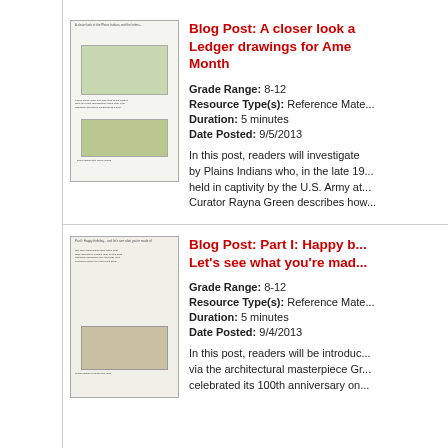[Figure (screenshot): Thumbnail screenshot of a blog post page showing ledger drawings with landscape images]
Blog Post: A closer look at Ledger drawings for American Indian Month
Grade Range: 8-12
Resource Type(s): Reference Materials
Duration: 5 minutes
Date Posted: 9/5/2013
In this post, readers will investigate drawings made by Plains Indians who, in the late 19th century, were held in captivity by the U.S. Army at... Curator Rayna Green describes how...
[Figure (screenshot): Thumbnail screenshot of a blog post page showing architectural content with a textured/grid image]
Blog Post: Part I: Happy b... Let's see what you're mad...
Grade Range: 8-12
Resource Type(s): Reference Materials
Duration: 5 minutes
Date Posted: 9/4/2013
In this post, readers will be introduced... via the architectural masterpiece Gr... celebrated its 100th anniversary on...